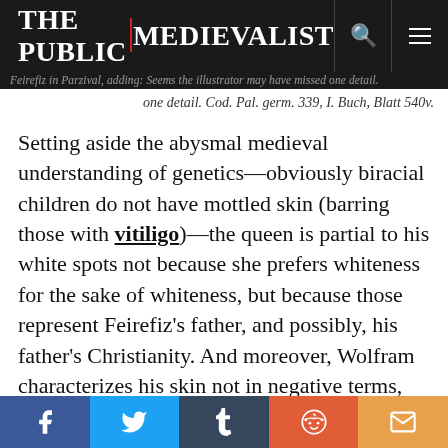The Public Medievalist
one detail. Cod. Pal. germ. 339, I. Buch, Blatt 540v.
Setting aside the abysmal medieval understanding of genetics—obviously biracial children do not have mottled skin (barring those with vitiligo)—the queen is partial to his white spots not because she prefers whiteness for the sake of whiteness, but because those represent Feirefiz's father, and possibly, his father's Christianity. And moreover, Wolfram characterizes his skin not in negative terms, but as one of God's miracles.
Fascinatingly—and something that will be discussed in more depth in a later article in this series—in medieval literature there are even instances where a
Facebook Twitter Tumblr Reddit Email